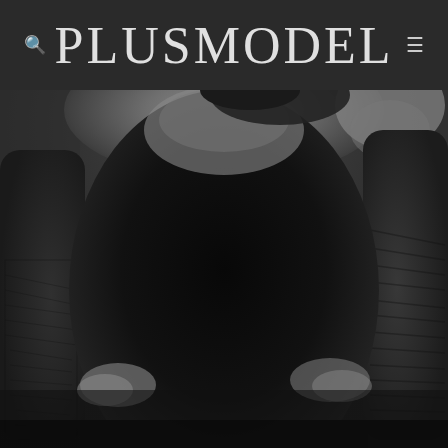PLUSMODEL
[Figure (photo): Black and white photo of a plus-size model wearing a black top, with tattooed arms placed on hips, viewed from the front torso down]